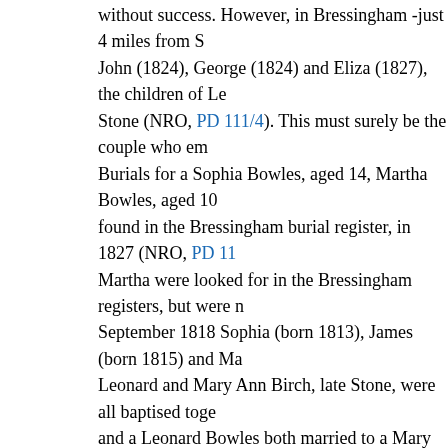without success. However, in Bressingham -just 4 miles from S... John (1824), George (1824) and Eliza (1827), the children of Le... Stone (NRO, PD 111/4). This must surely be the couple who em... Burials for a Sophia Bowles, aged 14, Martha Bowles, aged 10 ... found in the Bressingham burial register, in 1827 (NRO, PD 11... Martha were looked for in the Bressingham registers, but were n... September 1818 Sophia (born 1813), James (born 1815) and Ma... Leonard and Mary Ann Birch, late Stone, were all baptised toge... and a Leonard Bowles both married to a Mary Ann Stone, both... seemingly in common. Could Leonard Birch and Leonard Bowl...
A marriage for Mary Ann Stone and Leonard Birch was looked... lies between Bressingham and Shelfanger, in 1812 (NRO, PD 1... baptism of Sophia, daughter of Leonard and Mary Ann Birch, in... appears that Sophia was baptised twice in the name of Birch, bu...
The Shelfanger baptisms (NRO, PD 80/2) were looked at again... found there and the following was noted: